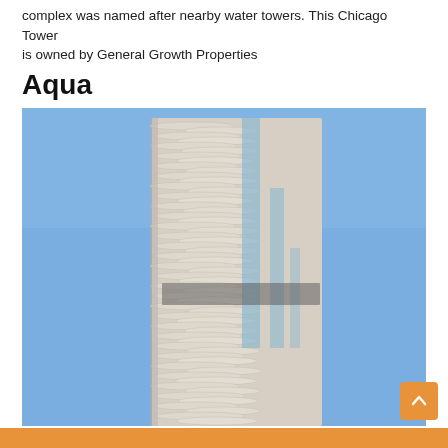complex was named after nearby water towers. This Chicago Tower is owned by General Growth Properties
Aqua
[Figure (photo): Photograph of the Aqua tower in Chicago, a tall skyscraper with distinctive undulating white concrete balconies creating a wave-like facade, photographed against a clear blue sky.]